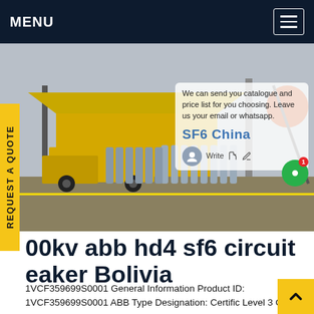MENU
[Figure (photo): Industrial photo showing yellow trucks and gas cylinders (SF6 refilling equipment) at an electrical substation site]
We can send you catalogue and price list for you choosing. Leave us your email or whatsapp.
SF6 China
Write
REQUEST A QUOTE
00kv abb hd4 sf6 circuit eaker Bolivia
1VCF359699S0001 General Information Product ID: 1VCF359699S0001 ABB Type Designation: Certific Level 3 Catalog Description: sf6 gas refilling kit